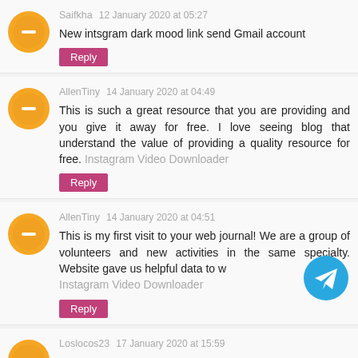Saifkha    12 January 2020 at 05:27
New intsgram dark mood link send Gmail account
Reply
AllenTiny    14 January 2020 at 04:49
This is such a great resource that you are providing and you give it away for free. I love seeing blog that understand the value of providing a quality resource for free. Instagram Video Downloader
Reply
AllenTiny    14 January 2020 at 04:51
This is my first visit to your web journal! We are a group of volunteers and new activities in the same specialty. Website gave us helpful data to w Instagram Video Downloader
Reply
Loslocos23    17 January 2020 at 15:59